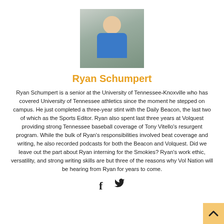[Figure (photo): Headshot photo of Ryan Schumpert, a young man smiling, wearing a blue shirt, against a light background]
Ryan Schumpert
Ryan Schumpert is a senior at the University of Tennessee-Knoxville who has covered University of Tennessee athletics since the moment he stepped on campus. He just completed a three-year stint with the Daily Beacon, the last two of which as the Sports Editor. Ryan also spent last three years at Volquest providing strong Tennessee baseball coverage of Tony Vitello's resurgent program. While the bulk of Ryan's responsibilities involved beat coverage and writing, he also recorded podcasts for both the Beacon and Volquest. Did we leave out the part about Ryan interning for the Smokies? Ryan's work ethic, versatility, and strong writing skills are but three of the reasons why Vol Nation will be hearing from Ryan for years to come.
[Figure (illustration): Social media icons: Facebook (f) and Twitter (bird)]